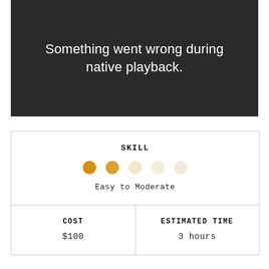[Figure (screenshot): Dark background video player error screen showing the message 'Something went wrong during native playback.']
| SKILL | COST | ESTIMATED TIME |
| --- | --- | --- |
| Easy to Moderate | $100 | 3 hours |